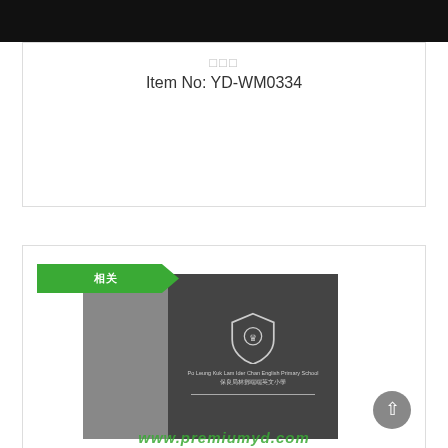[Figure (photo): Black banner/image bar at top of page]
□□□
Item No: YD-WM0334
[Figure (photo): Product photo showing a school plaque/award item with shield logo, text reading 'Po Leung Kuk Lam Ider Chan English Primary School' and Chinese characters. Green arrow tag label at top left. Website URL partially visible at bottom in green text.]